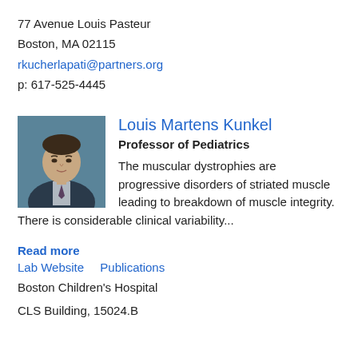77 Avenue Louis Pasteur
Boston, MA 02115
rkucherlapati@partners.org
p: 617-525-4445
[Figure (photo): Headshot photo of Louis Martens Kunkel]
Louis Martens Kunkel
Professor of Pediatrics
The muscular dystrophies are progressive disorders of striated muscle leading to breakdown of muscle integrity. There is considerable clinical variability...
Read more
Lab Website   Publications
Boston Children's Hospital
CLS Building, 15024.B